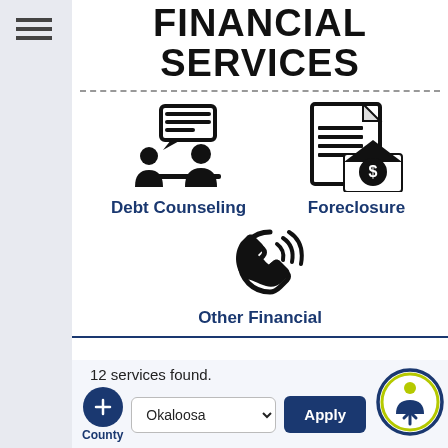FINANCIAL SERVICES
[Figure (illustration): Icon of two people at a desk with speech bubble - Debt Counseling]
[Figure (illustration): Icon of a document with a house and dollar sign - Foreclosure]
[Figure (illustration): Icon of a phone with sound waves - Other Financial]
Debt Counseling
Foreclosure
Other Financial
12 services found.
County
Okaloosa
Apply